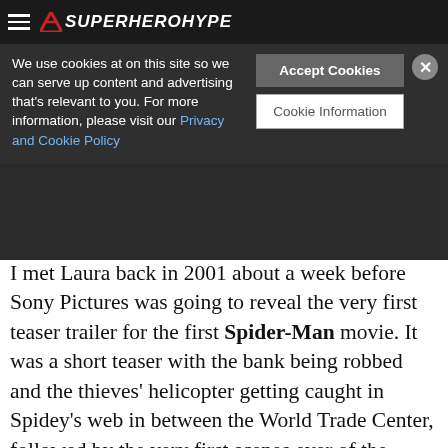SuperHeroHype
We use cookies at on this site so we can serve up content and advertising that's relevant to you. For more information, please visit our Privacy and Cookie Policy
Accept Cookies
Cookie Information
I met Laura back in 2001 about a week before Sony Pictures was going to reveal the very first teaser trailer for the first Spider-Man movie. It was a short teaser with the bank being robbed and the thieves' helicopter getting caught in Spidey's web in between the World Trade Center, followed by the very first scenes ever of the superhero swinging through New York. I remember sitting next to Laura and director Sam Raimi and hearing Laura sing along with the "I wanna take you on a roller coaster" lyrics of Lunatic Calm's "Leave You Far Behind." After the screening (I asked to see it twice), she asked me very genuine questions about what the fans would think of the footage. She was very concerned about it looking just right. She really did take us on a roller coaster with the "Spider-Man" films and was working on The